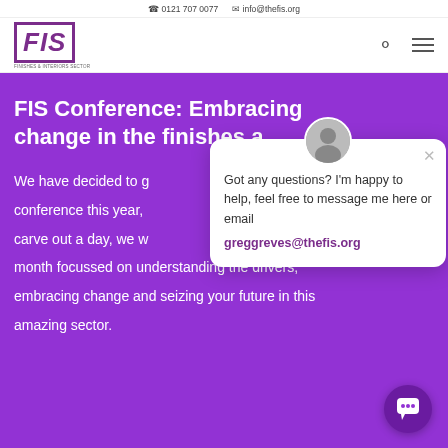0121 707 0077   info@thefis.org
[Figure (logo): FIS (Finishes & Interiors Sector) logo with stylized bold italic purple text inside a bordered box]
FIS Conference: Embracing change in the finishes a…
We have decided to g… conference this year, … carve out a day, we w… month focussed on understanding the drivers, embracing change and seizing your future in this amazing sector.
[Figure (screenshot): Chat popup overlay with avatar photo, close button, message 'Got any questions? I'm happy to help, feel free to message me here or email greggreves@thefis.org']